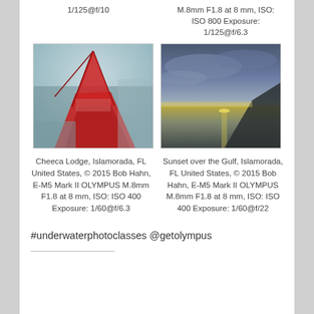1/125@f/10
M.8mm F1.8 at 8 mm, ISO: ISO 800 Exposure: 1/125@f/6.3
[Figure (photo): Aerial/fisheye view of a red sailboat/catamaran at a marina, Cheeca Lodge, Islamorada, FL]
[Figure (photo): Sunset over the Gulf, Islamorada, FL — wide angle shot of calm water under dramatic cloudy sky with sun reflection]
Cheeca Lodge, Islamorada, FL United States, © 2015 Bob Hahn, E-M5 Mark II OLYMPUS M.8mm F1.8 at 8 mm, ISO: ISO 400 Exposure: 1/60@f/6.3
Sunset over the Gulf, Islamorada, FL United States, © 2015 Bob Hahn, E-M5 Mark II OLYMPUS M.8mm F1.8 at 8 mm, ISO: ISO 400 Exposure: 1/60@f/22
#underwaterphotoclasses @getolympus